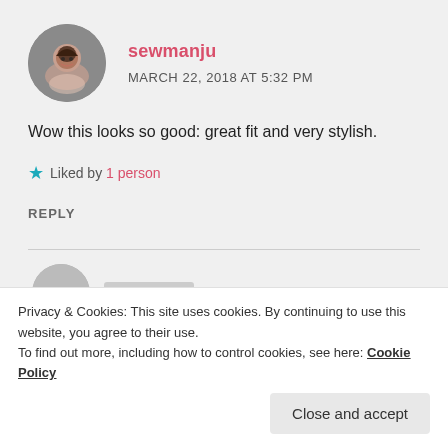[Figure (photo): Circular avatar photo of a woman with dark hair and glasses, smiling]
sewmanju
MARCH 22, 2018 AT 5:32 PM
Wow this looks so good: great fit and very stylish.
★ Liked by 1 person
REPLY
Privacy & Cookies: This site uses cookies. By continuing to use this website, you agree to their use.
To find out more, including how to control cookies, see here: Cookie Policy
Close and accept